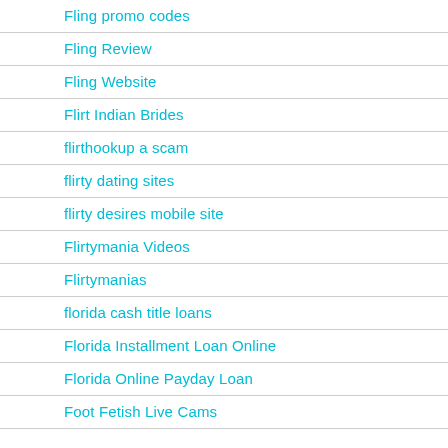Fling promo codes
Fling Review
Fling Website
Flirt Indian Brides
flirthookup a scam
flirty dating sites
flirty desires mobile site
Flirtymania Videos
Flirtymanias
florida cash title loans
Florida Installment Loan Online
Florida Online Payday Loan
Foot Fetish Live Cams